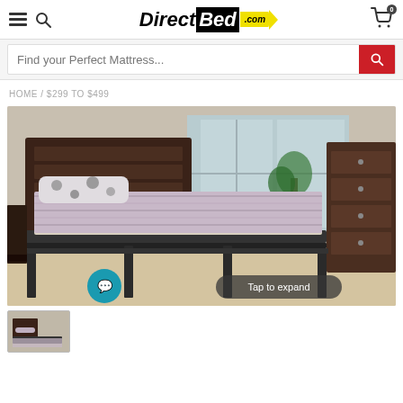DirectBed.com
Find your Perfect Mattress...
HOME / $299 TO $499
[Figure (photo): A twin bed with dark wood headboard, black metal frame, and plaid bedding in a bedroom setting with a dresser and window in the background. Overlay shows 'Tap to expand' button.]
[Figure (photo): Thumbnail of the same bed product image]